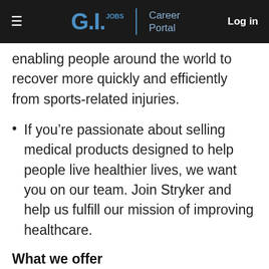G.I. JOBS | Career Portal   Log in
enabling people around the world to recover more quickly and efficiently from sports-related injuries.
If you’re passionate about selling medical products designed to help people live healthier lives, we want you on our team. Join Stryker and help us fulfill our mission of improving healthcare.
What we offer